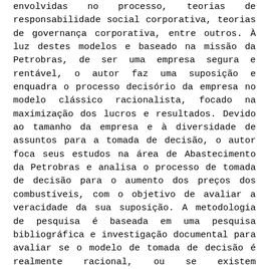envolvidas no processo, teorias de responsabilidade social corporativa, teorias de governança corporativa, entre outros. À luz destes modelos e baseado na missão da Petrobras, de ser uma empresa segura e rentável, o autor faz uma suposição e enquadra o processo decisório da empresa no modelo clássico racionalista, focado na maximização dos lucros e resultados. Devido ao tamanho da empresa e à diversidade de assuntos para a tomada de decisão, o autor foca seus estudos na área de Abastecimento da Petrobras e analisa o processo de tomada de decisão para o aumento dos preços dos combustíveis, com o objetivo de avaliar a veracidade da sua suposição. A metodologia de pesquisa é baseada em uma pesquisa bibliográfica e investigação documental para avaliar se o modelo de tomada de decisão é realmente racional, ou se existem influências ou fatores externos que levam a um novo modelo de processo decisório. Após comparar o modelo racional com os dados e realizações da empresa, o autor faz uma triangulação de métodos, incluindo uma pesquisa de campo para avaliar a percepção dos gestores e stakeholders sobre o modelo de tomada de decisão da empresa. O autor entrevista 11 funcionários da Petrobras e 10 stakeholders externos com